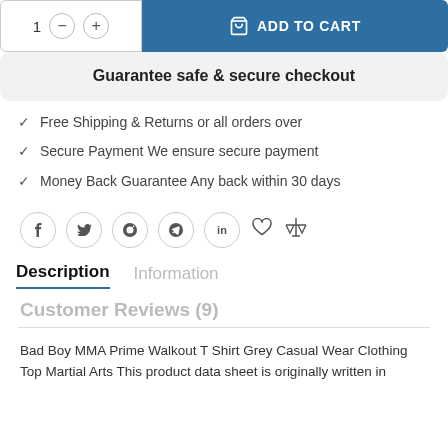[Figure (screenshot): Add to cart UI with quantity selector (1, minus, plus buttons) and blue ADD TO CART button with cart icon]
Guarantee safe & secure checkout
Free Shipping & Returns or all orders over
Secure Payment We ensure secure payment
Money Back Guarantee Any back within 30 days
[Figure (other): Social media icons row: Facebook, Twitter, Pinterest, WhatsApp, LinkedIn circles, plus heart icon and balance/compare icon]
Description
Information
Customer Reviews (9)
Bad Boy MMA Prime Walkout T Shirt Grey Casual Wear Clothing Top Martial Arts This product data sheet is originally written in